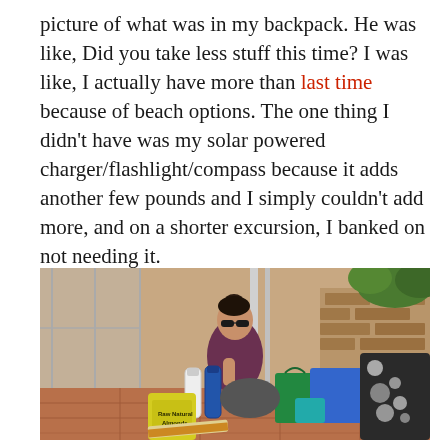picture of what was in my backpack. He was like, Did you take less stuff this time? I was like, I actually have more than last time because of beach options. The one thing I didn't have was my solar powered charger/flashlight/compass because it adds another few pounds and I simply couldn't add more, and on a shorter excursion, I banked on not needing it.
[Figure (photo): A woman with dark hair in a bun, wearing sunglasses and a dark tank top, sits on a tiled floor or patio area surrounded by travel items: a white water bottle, a blue water bottle, bags including a green tote and a blue tote, a black and white patterned fabric/bag, and a yellow bag of Raw Natural Almonds. Brick wall and greenery visible in background.]